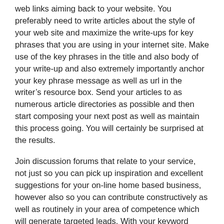web links aiming back to your website. You preferably need to write articles about the style of your web site and maximize the write-ups for key phrases that you are using in your internet site. Make use of the key phrases in the title and also body of your write-up and also extremely importantly anchor your key phrase message as well as url in the writer's resource box. Send your articles to as numerous article directories as possible and then start composing your next post as well as maintain this process going. You will certainly be surprised at the results.
Join discussion forums that relate to your service, not just so you can pick up inspiration and excellent suggestions for your on-line home based business, however also so you can contribute constructively as well as routinely in your area of competence which will generate targeted leads. With your keyword phrases secured in the text in your trademark you will also be generating beneficial web links directing back to your site.